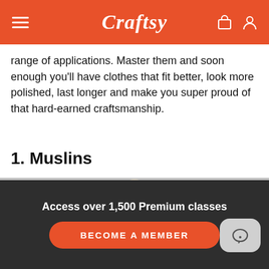Craftsy
range of applications. Master them and soon enough you'll have clothes that fit better, look more polished, last longer and make you super proud of that hard-earned craftsmanship.
1. Muslins
[Figure (photo): A dress form/mannequin wearing a white/cream blazer or jacket on a neutral grey background.]
Access over 1,500 Premium classes
BECOME A MEMBER